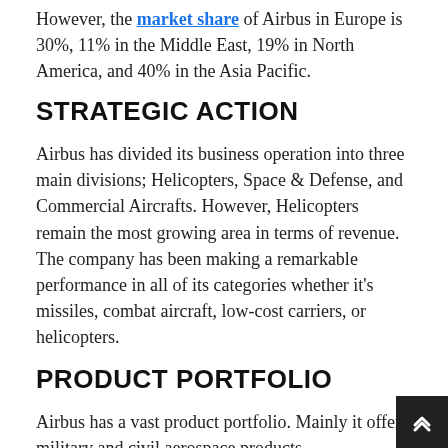However, the market share of Airbus in Europe is 30%, 11% in the Middle East, 19% in North America, and 40% in the Asia Pacific.
STRATEGIC ACTION
Airbus has divided its business operation into three main divisions; Helicopters, Space & Defense, and Commercial Aircrafts. However, Helicopters remain the most growing area in terms of revenue. The company has been making a remarkable performance in all of its categories whether it's missiles, combat aircraft, low-cost carriers, or helicopters.
PRODUCT PORTFOLIO
Airbus has a vast product portfolio. Mainly it offers military and civil aerospace products, manufacturing and design. The company has a strong foothold of